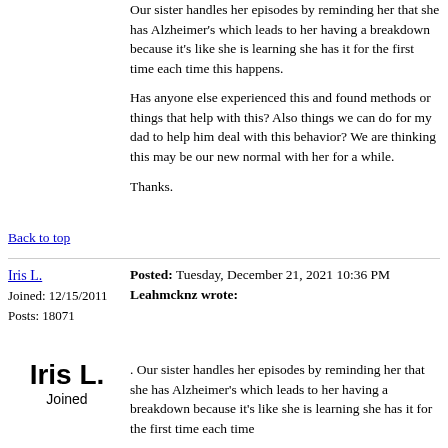Our sister handles her episodes by reminding her that she has Alzheimer's which leads to her having a breakdown because it's like she is learning she has it for the first time each time this happens.
Has anyone else experienced this and found methods or things that help with this? Also things we can do for my dad to help him deal with this behavior? We are thinking this may be our new normal with her for a while.
Thanks.
Back to top
Iris L.
Joined: 12/15/2011
Posts: 18071
Posted: Tuesday, December 21, 2021 10:36 PM
Leahmcknz wrote:
[Figure (other): Avatar showing text 'Iris L.' and 'Joined' label]
. Our sister handles her episodes by reminding her that she has Alzheimer's which leads to her having a breakdown because it's like she is learning she has it for the first time each time